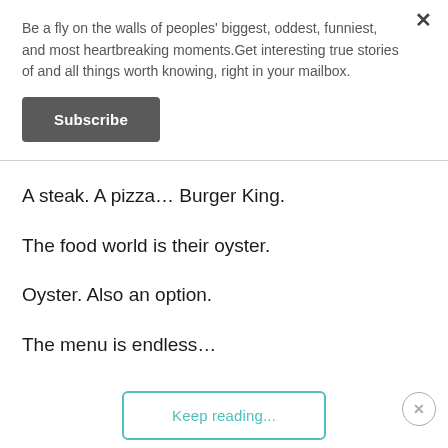Be a fly on the walls of peoples' biggest, oddest, funniest, and most heartbreaking moments.Get interesting true stories of and all things worth knowing, right in your mailbox.
Subscribe
A steak. A pizza… Burger King.
The food world is their oyster.
Oyster. Also an option.
The menu is endless…
Keep reading...